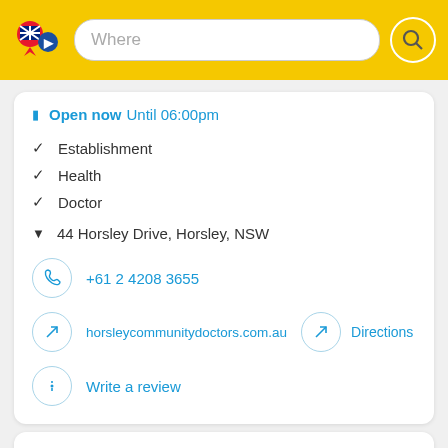[Figure (screenshot): Yellow top navigation bar with a location pin logo (Australian flag), a 'Where' search input field, and a circular search button]
Open now Until 06:00pm
✓ Establishment
✓ Health
✓ Doctor
▼ 44 Horsley Drive, Horsley, NSW
+61 2 4208 3655
horsleycommunitydoctors.com.au
Directions
Write a review
massage therapy
Establishment · Health · Horsley, NSW 2530